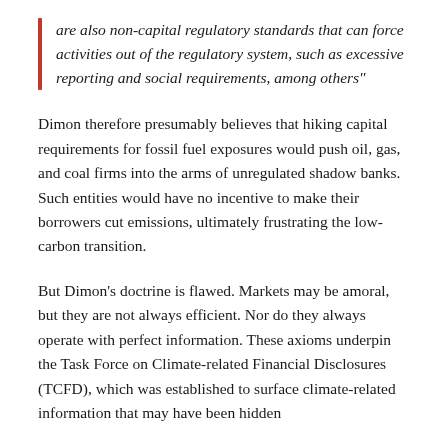are also non-capital regulatory standards that can force activities out of the regulatory system, such as excessive reporting and social requirements, among others"
Dimon therefore presumably believes that hiking capital requirements for fossil fuel exposures would push oil, gas, and coal firms into the arms of unregulated shadow banks. Such entities would have no incentive to make their borrowers cut emissions, ultimately frustrating the low-carbon transition.
But Dimon’s doctrine is flawed. Markets may be amoral, but they are not always efficient. Nor do they always operate with perfect information. These axioms underpin the Task Force on Climate-related Financial Disclosures (TCFD), which was established to surface climate-related information that may have been hidden